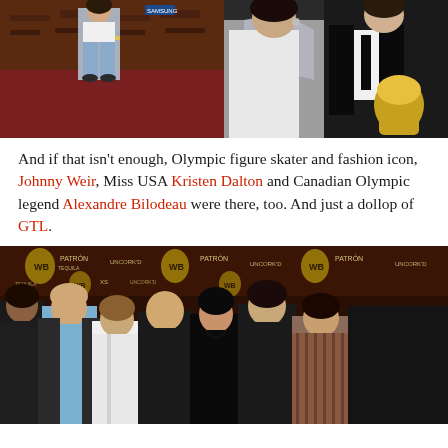[Figure (photo): Two photos side by side: left shows a woman in jeans and white top on a red carpet with branding backdrop; right shows people in formal attire, one holding an award/trophy]
And if that isn't enough, Olympic figure skater and fashion icon, Johnny Weir, Miss USA Kristen Dalton and Canadian Olympic legend Alexandre Bilodeau were there, too. And just a dollop of GTL.
[Figure (photo): Group photo of approximately 7 people posing together on a red carpet at what appears to be a PATRON / UNCORK'D branded event]